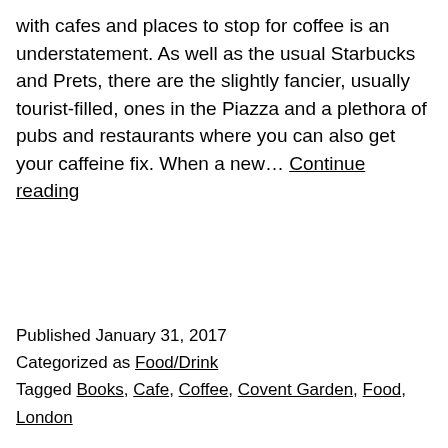with cafes and places to stop for coffee is an understatement. As well as the usual Starbucks and Prets, there are the slightly fancier, usually tourist-filled, ones in the Piazza and a plethora of pubs and restaurants where you can also get your caffeine fix. When a new… Continue reading
Published January 31, 2017
Categorized as Food/Drink
Tagged Books, Cafe, Coffee, Covent Garden, Food, London